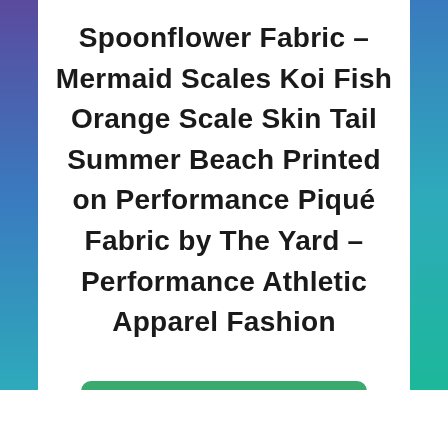Spoonflower Fabric – Mermaid Scales Koi Fish Orange Scale Skin Tail Summer Beach Printed on Performance Piqué Fabric by The Yard – Performance Athletic Apparel Fashion
More Info and Images